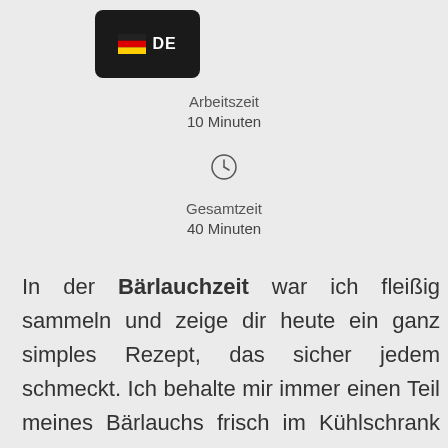[Figure (logo): Black rounded rectangle with German flag icon and 'DE' text label]
Arbeitszeit
10 Minuten
[Figure (other): Clock icon (circle with clock hands)]
Gesamtzeit
40 Minuten
In der Bärlauchzeit war ich fleißig sammeln und zeige dir heute ein ganz simples Rezept, das sicher jedem schmeckt. Ich behalte mir immer einen Teil meines Bärlauchs frisch im Kühlschrank zum sofort verwenden, einen Teil friere ich ein und den Rest lasse ich trocknen, um